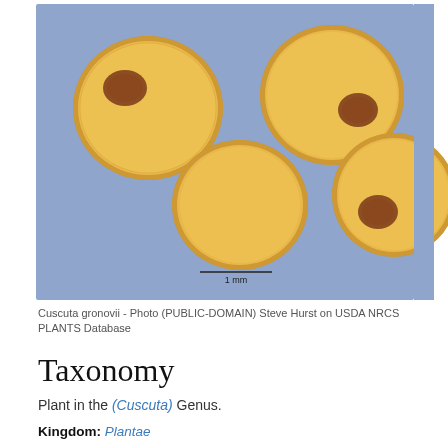[Figure (photo): Macro photograph of four Cuscuta gronovii seeds on a blue-grey background, showing roughly spherical orange-yellow textured seeds with brownish patches. A 1 mm scale bar is visible at the bottom of the image.]
Cuscuta gronovii - Photo (PUBLIC-DOMAIN) Steve Hurst on USDA NRCS PLANTS Database
Taxonomy
Plant in the (Cuscuta) Genus.
Kingdom: Plantae
Phylum: Anthophyta
Class: Dicotyledonae
Order: Solanales
Family: Cuscutaceae